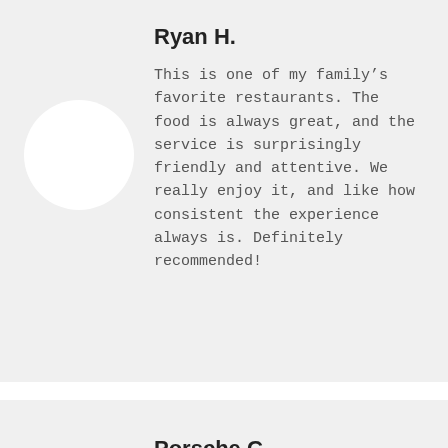Ryan H.
This is one of my family’s favorite restaurants. The food is always great, and the service is surprisingly friendly and attentive. We really enjoy it, and like how consistent the experience always is. Definitely recommended!
Porsche C.
Love this cafe!! Came for a